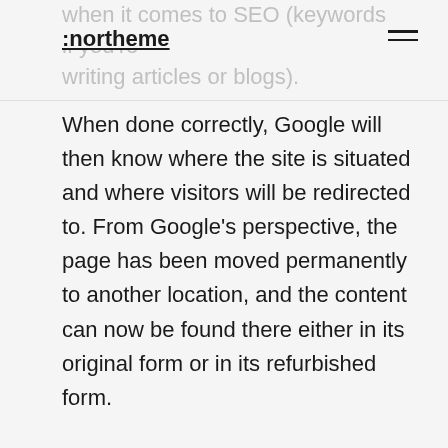when it comes to SEO (keywords if you're writing articles or blogs). :northeme
When done correctly, Google will then know where the site is situated and where visitors will be redirected to. From Google's perspective, the page has been moved permanently to another location, and the content can now be found there either in its original form or in its refurbished form.
It's also a way of redirecting visitors from one URL to another. Now, what do I mean by this? Let's say your URL goes something like this: www.your-awesome-site.com/outdated-news-section-2019. So, let's say that you now